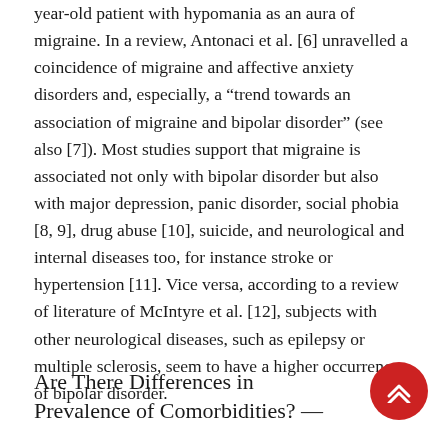year-old patient with hypomania as an aura of migraine. In a review, Antonaci et al. [6] unravelled a coincidence of migraine and affective anxiety disorders and, especially, a “trend towards an association of migraine and bipolar disorder” (see also [7]). Most studies support that migraine is associated not only with bipolar disorder but also with major depression, panic disorder, social phobia [8, 9], drug abuse [10], suicide, and neurological and internal diseases too, for instance stroke or hypertension [11]. Vice versa, according to a review of literature of McIntyre et al. [12], subjects with other neurological diseases, such as epilepsy or multiple sclerosis, seem to have a higher occurrence of bipolar disorder.
Are There Differences in Prevalence of Comorbidities? —